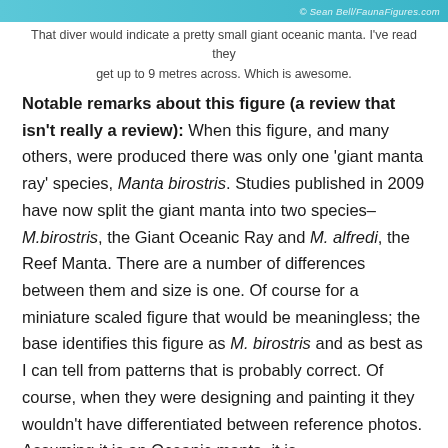© Sean Bell/FaunaFigures.com
That diver would indicate a pretty small giant oceanic manta. I've read they get up to 9 metres across. Which is awesome.
Notable remarks about this figure (a review that isn't really a review): When this figure, and many others, were produced there was only one 'giant manta ray' species, Manta birostris. Studies published in 2009 have now split the giant manta into two species–M.birostris, the Giant Oceanic Ray and M. alfredi, the Reef Manta. There are a number of differences between them and size is one. Of course for a miniature scaled figure that would be meaningless; the base identifies this figure as M. birostris and as best as I can tell from patterns that is probably correct. Of course, when they were designing and painting it they wouldn't have differentiated between reference photos. Assuming it is an Oceanic manta, it is